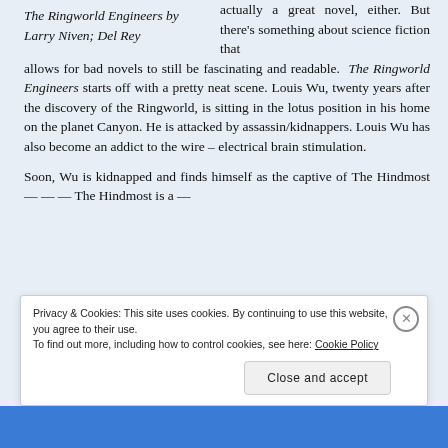The Ringworld Engineers by Larry Niven; Del Rey
actually a great novel, either. But there's something about science fiction that allows for bad novels to still be fascinating and readable. The Ringworld Engineers starts off with a pretty neat scene. Louis Wu, twenty years after the discovery of the Ringworld, is sitting in the lotus position in his home on the planet Canyon. He is attacked by assassin/kidnappers. Louis Wu has also become an addict to the wire – electrical brain stimulation.
Soon, Wu is kidnapped and finds himself as the captive of The Hindmost — ...
Privacy & Cookies: This site uses cookies. By continuing to use this website, you agree to their use. To find out more, including how to control cookies, see here: Cookie Policy
Close and accept